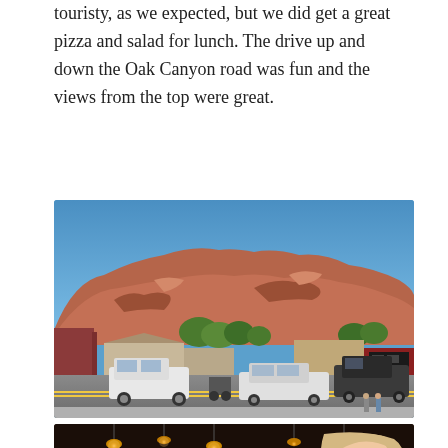touristy, as we expected, but we did get a great pizza and salad for lunch. The drive up and down the Oak Canyon road was fun and the views from the top were great.
[Figure (photo): Street-level view of a town (likely Sedona, AZ) with red rock buttes and mountains in the background under a clear blue sky. Cars and SUVs are parked along a main road, with trees and commercial buildings visible.]
[Figure (photo): Interior of a restaurant with warm lighting, pendant lights, and a blonde woman visible on the right side.]